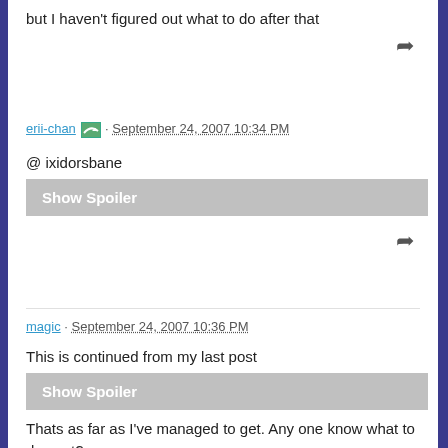but I haven't figured out what to do after that
erii-chan · September 24, 2007 10:34 PM
@ ixidorsbane
Show Spoiler
magic · September 24, 2007 10:36 PM
This is continued from my last post
Show Spoiler
Thats as far as I've managed to get. Any one know what to do next?